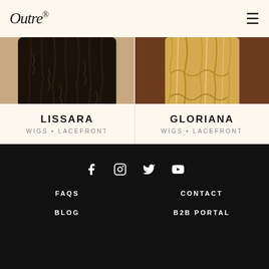Outre
[Figure (photo): Back view of a woman with long, dark, curly hair wearing a light top — product photo for LISSARA wig]
LISSARA
WIGS • LACEFRONT
[Figure (photo): Back view of a woman with medium-length blonde hair wearing a white top — product photo for GLORIANA wig]
GLORIANA
WIGS • LACEFRONT
Facebook  Instagram  Twitter  YouTube  FAQS  CONTACT  BLOG  B2B PORTAL